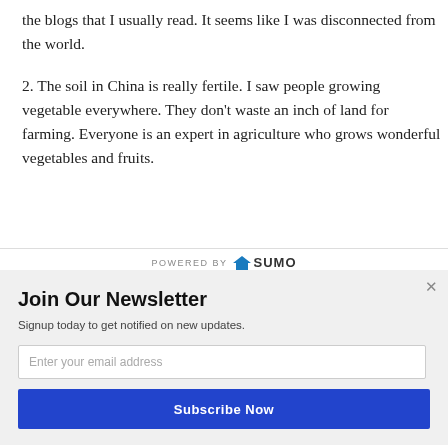the blogs that I usually read. It seems like I was disconnected from the world.
2. The soil in China is really fertile. I saw people growing vegetable everywhere. They don't waste an inch of land for farming. Everyone is an expert in agriculture who grows wonderful vegetables and fruits.
[Figure (logo): POWERED BY SUMO logo badge]
Join Our Newsletter
Signup today to get notified on new updates.
Enter your email address
Subscribe Now